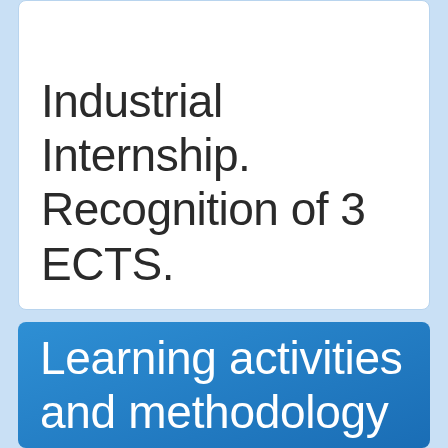Industrial Internship. Recognition of 3 ECTS.
Learning activities and methodology